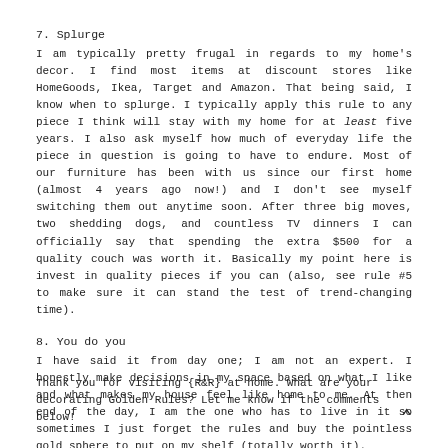7. Splurge
I am typically pretty frugal in regards to my home's decor. I find most items at discount stores like HomeGoods, Ikea, Target and Amazon. That being said, I know when to splurge. I typically apply this rule to any piece I think will stay with my home for at least five years. I also ask myself how much of everyday life the piece in question is going to have to endure. Most of our furniture has been with us since our first home (almost 4 years ago now!) and I don't see myself switching them out anytime soon. After three big moves, two shedding dogs, and countless TV dinners I can officially say that spending the extra $500 for a quality couch was worth it. Basically my point here is invest in quality pieces if you can (also, see rule #5 to make sure it can stand the test of trend-changing time).
8. You do you
I have said it from day one; I am not an expert. I honestly make decisions in my space based on what I like and what makes my house feel like home to me. At then end of the day, I am the one who has to live in it so sometimes I just forget the rules and buy the pointless gold sphere to put on my shelf (totally worth it).
Thank you for visiting {R&R} at home. What are your decorating Golden Rules? Let me know if the comments below!